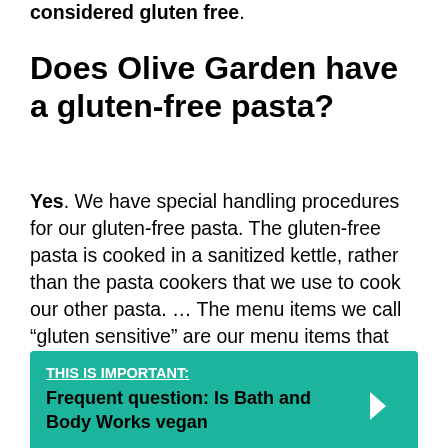considered gluten free.
Does Olive Garden have a gluten-free pasta?
Yes. We have special handling procedures for our gluten-free pasta. The gluten-free pasta is cooked in a sanitized kettle, rather than the pasta cookers that we use to cook our other pasta. ... The menu items we call “gluten sensitive” are our menu items that are made without gluten-containing ingredients.
THIS IS IMPORTANT: Frequent question: Is Bath and Body Works vegan